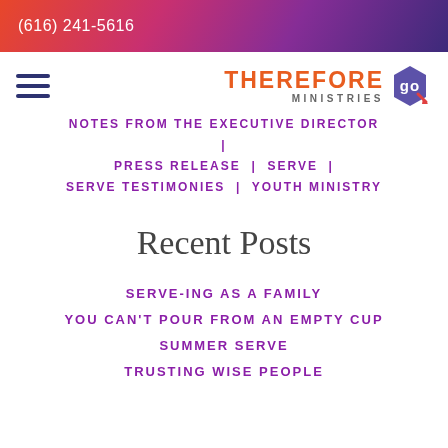(616) 241-5616
[Figure (logo): Therefore Go Ministries logo with hamburger menu icon]
NOTES FROM THE EXECUTIVE DIRECTOR | PRESS RELEASE | SERVE | SERVE TESTIMONIES | YOUTH MINISTRY
Recent Posts
SERVE-ING AS A FAMILY
YOU CAN'T POUR FROM AN EMPTY CUP
SUMMER SERVE
TRUSTING WISE PEOPLE